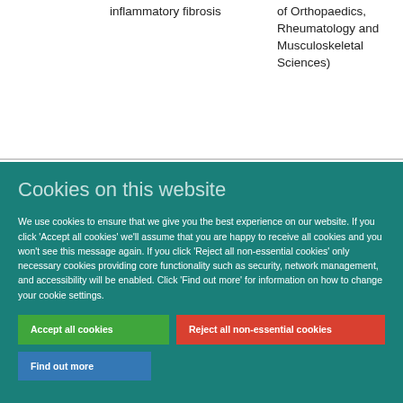inflammatory fibrosis
of Orthopaedics, Rheumatology and Musculoskeletal Sciences)
Cookies on this website
We use cookies to ensure that we give you the best experience on our website. If you click 'Accept all cookies' we'll assume that you are happy to receive all cookies and you won't see this message again. If you click 'Reject all non-essential cookies' only necessary cookies providing core functionality such as security, network management, and accessibility will be enabled. Click 'Find out more' for information on how to change your cookie settings.
Accept all cookies
Reject all non-essential cookies
Find out more